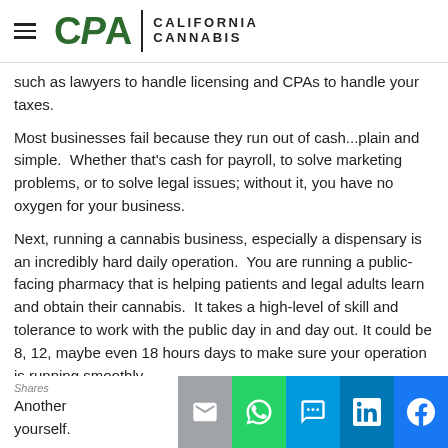CPA | CALIFORNIA CANNABIS
such as lawyers to handle licensing and CPAs to handle your taxes.
Most businesses fail because they run out of cash...plain and simple.  Whether that's cash for payroll, to solve marketing problems, or to solve legal issues; without it, you have no oxygen for your business.
Next, running a cannabis business, especially a dispensary is an incredibly hard daily operation.  You are running a public-facing pharmacy that is helping patients and legal adults learn and obtain their cannabis.  It takes a high-level of skill and tolerance to work with the public day in and day out. It could be 8, 12, maybe even 18 hours days to make sure your operation is running smoothly.
Another yourself.